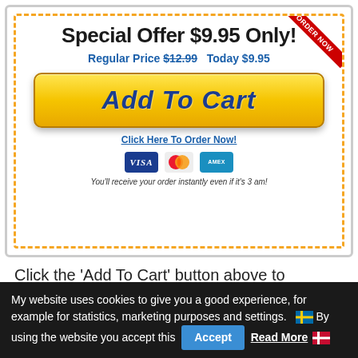[Figure (screenshot): E-commerce coupon box with dashed orange border showing special offer for $9.95, Add To Cart button in yellow/gold, payment icons, and instant delivery note]
Click the 'Add To Cart' button above to complete your purchase on our secure order
My website uses cookies to give you a good experience, for example for statistics, marketing purposes and settings. By using the website you accept this  Accept  Read More